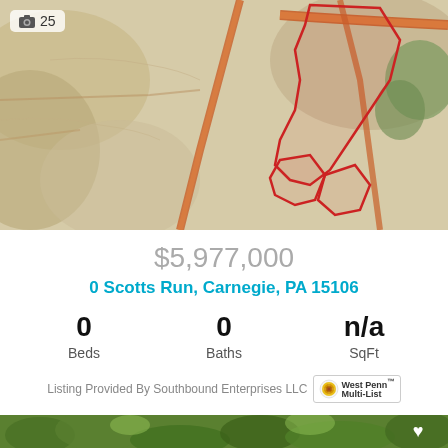[Figure (map): Topographic map with red outlined property parcel boundary for a land listing in Carnegie, PA. Roads shown in orange/brown. Green wooded areas. Photo count overlay showing camera icon and 25.]
25
$5,977,000
0 Scotts Run, Carnegie, PA 15106
0 Beds
0 Baths
n/a SqFt
Listing Provided By Southbound Enterprises LLC
[Figure (photo): Aerial photograph showing expansive green forested and open fields land in Carnegie, PA area. White heart icon in upper right corner of photo.]